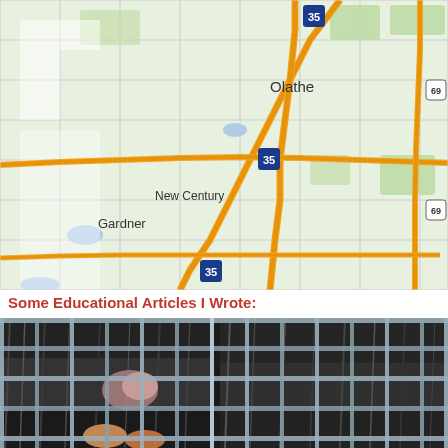[Figure (map): Google Maps view showing Olathe, New Century, and Gardner areas in Kansas with Interstate 35 highway highlighted in orange/yellow]
Some Educational Articles I Wrote:
[Figure (photo): Close-up photo of a raccoon or opossum trapped inside a wire cage trap, visible through the metal grid bars]